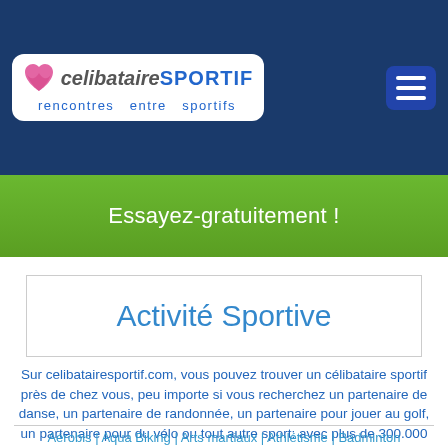celibataireSPORTIF — rencontres entre sportifs
Essayez-gratuitement !
Activité Sportive
Sur celibatairesportif.com, vous pouvez trouver un célibataire sportif près de chez vous, peu importe si vous recherchez un partenaire de danse, un partenaire de randonnée, un partenaire pour jouer au golf, un partenaire pour du vélo ou tout autre sport: avec plus de 300.000 membres, les chances sont élevées de trouver un célibataire sportif que correspondant à votre activité sportive Celibataire Sportif à Longueuil.
Aérobis | Aqua Biking | Arts martiaux | Athlétisme | Badminton